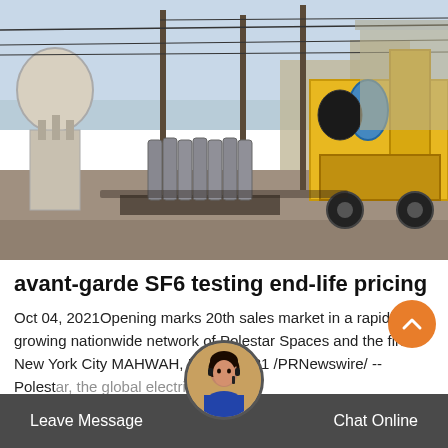[Figure (photo): Industrial electrical substation scene with large equipment, gas cylinders, utility poles with wires, a yellow truck/crane on the right side, and a metal building structure]
avant-garde SF6 testing end-life pricing
Oct 04, 2021Opening marks 20th sales market in a rapidly growing nationwide network of Polestar Spaces and the first New York City MAHWAH, N... 4, 2021 /PRNewswire/ -- Polestar, the global electric